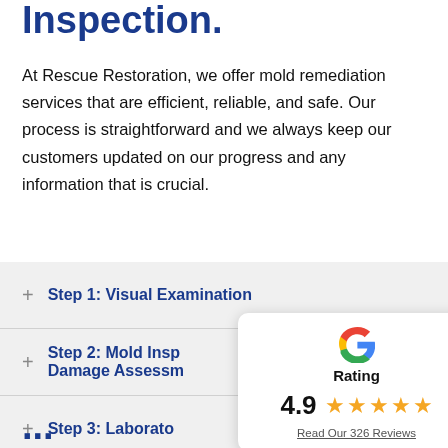Inspection.
At Rescue Restoration, we offer mold remediation services that are efficient, reliable, and safe. Our process is straightforward and we always keep our customers updated on our progress and any information that is crucial.
Step 1: Visual Examination
Step 2: Mold Inspection & Damage Assessment
Step 3: Laboratory
[Figure (infographic): Google rating card showing 4.9 stars with 5 gold stars and 'Read Our 326 Reviews' link]
...